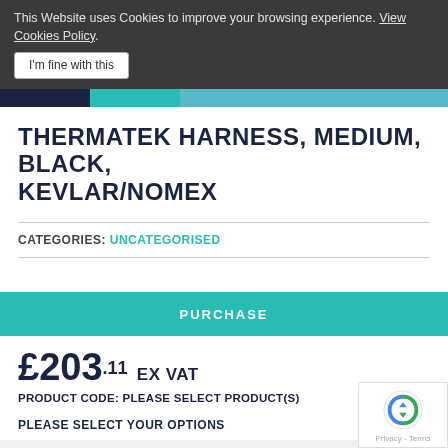This Website uses Cookies to improve your browsing experience. View Cookies Policy.
I'm fine with this
THERMATEK HARNESS, MEDIUM, BLACK, KEVLAR/NOMEX
CATEGORIES: UNCATEGORISED
PURCHASE
£203.11 EX VAT
PRODUCT CODE: PLEASE SELECT PRODUCT(S)
PLEASE SELECT YOUR OPTIONS
Thermatek Harness, medium, black, Kevlar/Nomex